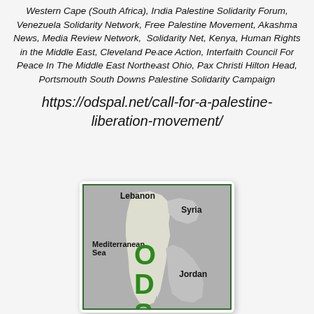Western Cape (South Africa), India Palestine Solidarity Forum, Venezuela Solidarity Network, Free Palestine Movement, Akashma News, Media Review Network, Solidarity Net, Kenya, Human Rights in the Middle East, Cleveland Peace Action, Interfaith Council For Peace In The Middle East Northeast Ohio, Pax Christi Hilton Head, Portsmouth South Downs Palestine Solidarity Campaign
https://odspal.net/call-for-a-palestine-liberation-movement/
[Figure (map): Map of Palestine/Israel region showing Lebanon to the north, Syria to the northeast, Jordan to the east, Mediterranean Sea to the west, with a cream-colored central territory labeled ODS in green bold letters.]